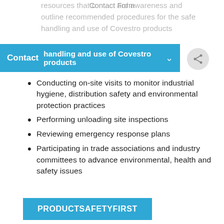resources that c   ard awareness and outline recommended procedures for the safe handling and use of Covestro products
Contact Form
Contact
Conducting on-site visits to monitor industrial hygiene, distribution safety and environmental protection practices
Performing unloading site inspections
Reviewing emergency response plans
Participating in trade associations and industry committees to advance environmental, health and safety issues
PRODUCTSAFETYFIRST